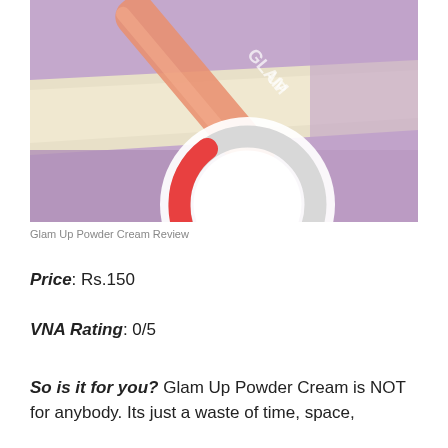[Figure (photo): Photo of a Glam Up lip gloss tube (peach/coral colored) resting diagonally across a cream and purple bag/purse, with a donut/ring rating chart overlay in the lower center]
Glam Up Powder Cream Review
Price: Rs.150
VNA Rating: 0/5
So is it for you? Glam Up Powder Cream is NOT for anybody. Its just a waste of time, space,